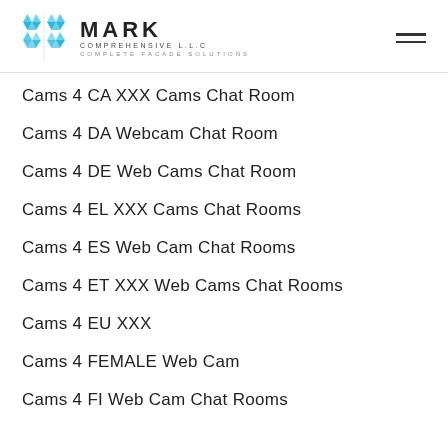MARK COMPREHENSIVE L.L.C — COMPLETE FACADE SOLUTIONS
Cams 4 CA XXX Cams Chat Room
Cams 4 DA Webcam Chat Room
Cams 4 DE Web Cams Chat Room
Cams 4 EL XXX Cams Chat Rooms
Cams 4 ES Web Cam Chat Rooms
Cams 4 ET XXX Web Cams Chat Rooms
Cams 4 EU XXX
Cams 4 FEMALE Web Cam
Cams 4 FI Web Cam Chat Rooms